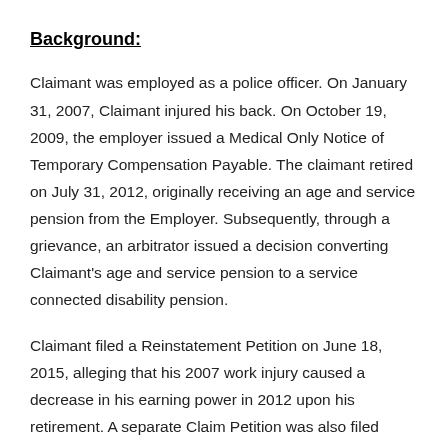Background:
Claimant was employed as a police officer. On January 31, 2007, Claimant injured his back. On October 19, 2009, the employer issued a Medical Only Notice of Temporary Compensation Payable. The claimant retired on July 31, 2012, originally receiving an age and service pension from the Employer. Subsequently, through a grievance, an arbitrator issued a decision converting Claimant’s age and service pension to a service connected disability pension.
Claimant filed a Reinstatement Petition on June 18, 2015, alleging that his 2007 work injury caused a decrease in his earning power in 2012 upon his retirement. A separate Claim Petition was also filed alleging that on July 1, 2012, Claimant sustained additional injuries resulting in disability.